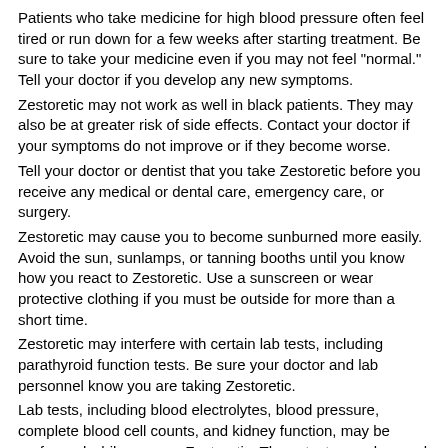Patients who take medicine for high blood pressure often feel tired or run down for a few weeks after starting treatment. Be sure to take your medicine even if you may not feel "normal." Tell your doctor if you develop any new symptoms.
Zestoretic may not work as well in black patients. They may also be at greater risk of side effects. Contact your doctor if your symptoms do not improve or if they become worse.
Tell your doctor or dentist that you take Zestoretic before you receive any medical or dental care, emergency care, or surgery.
Zestoretic may cause you to become sunburned more easily. Avoid the sun, sunlamps, or tanning booths until you know how you react to Zestoretic. Use a sunscreen or wear protective clothing if you must be outside for more than a short time.
Zestoretic may interfere with certain lab tests, including parathyroid function tests. Be sure your doctor and lab personnel know you are taking Zestoretic.
Lab tests, including blood electrolytes, blood pressure, complete blood cell counts, and kidney function, may be performed while you use Zestoretic. These tests may be used to monitor your condition or check for side effects. Be sure to keep all doctor and lab appointments.
Use Zestoretic with caution in the elderly; they may be more s its effects.
Zestoretic should be used with extreme caution in children; sa effectiveness in children have not been confirmed.